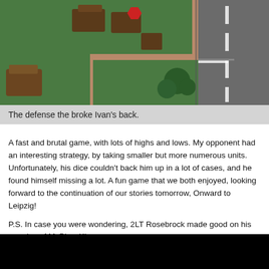[Figure (photo): Top-down view of a miniature wargame board showing terrain with green fields, roads, trees, and military unit tokens/counters.]
The defense the broke Ivan's back.
A fast and brutal game, with lots of highs and lows. My opponent had an interesting strategy, by taking smaller but more numerous units. Unfortunately, his dice couldn't back him up in a lot of cases, and he found himself missing a lot. A fun game that we both enjoyed, looking forward to the continuation of our stories tomorrow, Onward to Leipzig!
P.S. In case you were wondering, 2LT Rosebrock made good on his promise of McPizzaKing,
[Figure (photo): Dark/black image, likely a photo taken in low light conditions.]